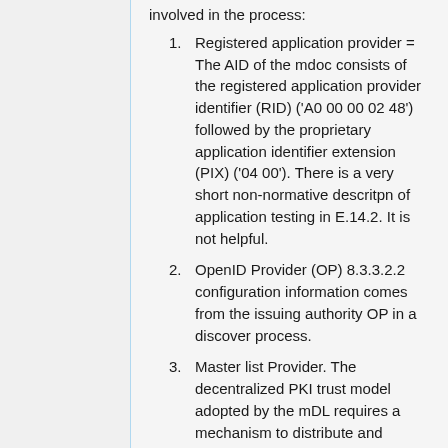involved in the process:
Registered application provider = The AID of the mdoc consists of the registered application provider identifier (RID) ('A0 00 00 02 48') followed by the proprietary application identifier extension (PIX) ('04 00'). There is a very short non-normative descritpn of application testing in E.14.2. It is not helpful.
OpenID Provider (OP) 8.3.3.2.2 configuration information comes from the issuing authority OP in a discover process.
Master list Provider. The decentralized PKI trust model adopted by the mDL requires a mechanism to distribute and disseminate the set of